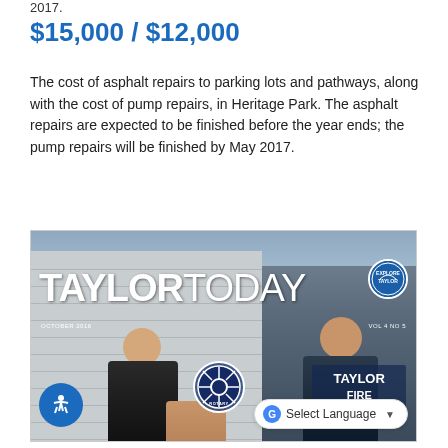2017.
$15,000 / $12,000
The cost of asphalt repairs to parking lots and pathways, along with the cost of pump repairs, in Heritage Park. The asphalt repairs are expected to be finished before the year ends; the pump repairs will be finished by May 2017.
[Figure (photo): Cover of Taylor Today magazine (October 2016, Vol. 4 No. 5) showing two men in uniform standing next to a Taylor Fire Safety House sign with a Rotary badge visible.]